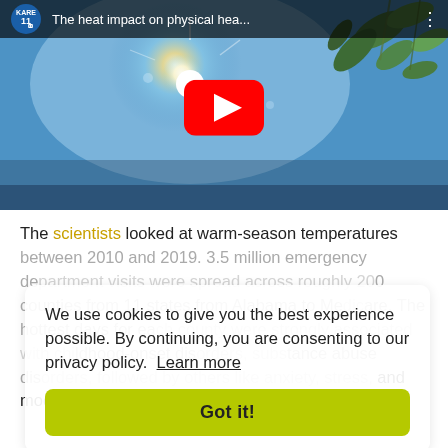[Figure (screenshot): YouTube video thumbnail showing a bright sun with lens flare and green leaves, from KARE 11 channel. Title bar reads 'The heat impact on physical hea...' with three-dot menu icon and red YouTube play button overlay.]
The scientists looked at warm-season temperatures between 2010 and 2019. 3.5 million emergency department visits were spread across roughly 2,000 counties from 11 states from Alabama to Maine. The hottest days for each county were strongly associated with childhood-onset disorders, substance abuse disorders, followed by others like anxiety, stress, and mood disorders like schizophrenia, delusions,
We use cookies to give you the best experience possible. By continuing, you are consenting to our privacy policy.  Learn more
[Got it! button]